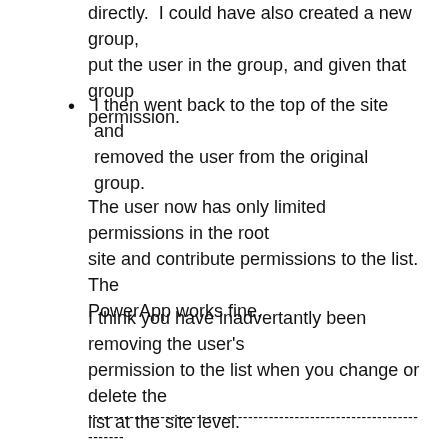directly. I could have also created a new group, put the user in the group, and given that group permission.
I then went back to the top of the site and removed the user from the original group.
The user now has only limited permissions in the root site and contribute permissions to the list. The PowerApp works fine.
I think you have inadvertantly been removing the user's permission to the list when you change or delete the list at the site level.
-----------------------------------------------------------------------
------------